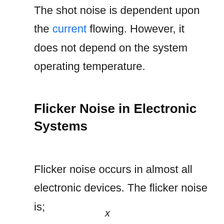The shot noise is dependent upon the current flowing. However, it does not depend on the system operating temperature.
Flicker Noise in Electronic Systems
Flicker noise occurs in almost all electronic devices. The flicker noise is;